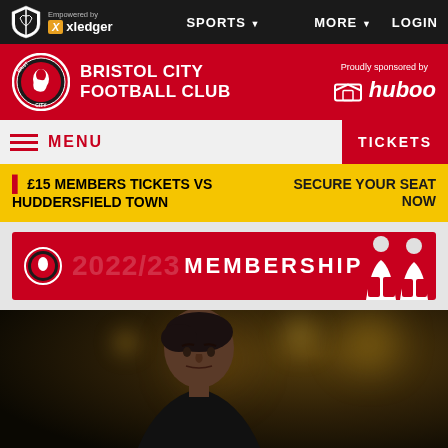Empowered by xledger | SPORTS ▾ | MORE ▾ | LOGIN
BRISTOL CITY FOOTBALL CLUB
Proudly sponsored by huboo
MENU
TICKETS
£15 MEMBERS TICKETS VS HUDDERSFIELD TOWN — SECURE YOUR SEAT NOW
[Figure (infographic): 2022/23 Membership banner in red with club logo and two players in red and white kit]
[Figure (photo): Close-up photo of a man (manager/coach) with short dark hair, looking serious, against bokeh stadium lighting background]